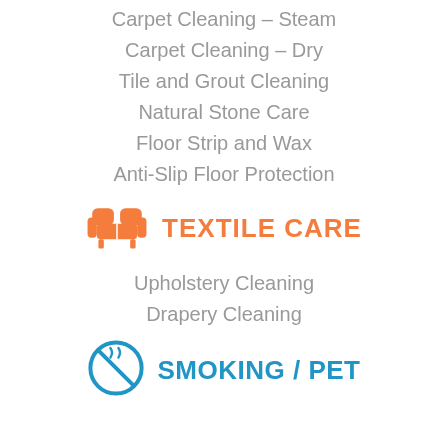Carpet Cleaning – Steam
Carpet Cleaning – Dry
Tile and Grout Cleaning
Natural Stone Care
Floor Strip and Wax
Anti-Slip Floor Protection
[Figure (illustration): Orange sofa/armchair icon next to TEXTILE CARE section header]
TEXTILE CARE
Upholstery Cleaning
Drapery Cleaning
[Figure (illustration): Blue smoking/pet prohibition icon next to SMOKING / PET section header]
SMOKING / PET